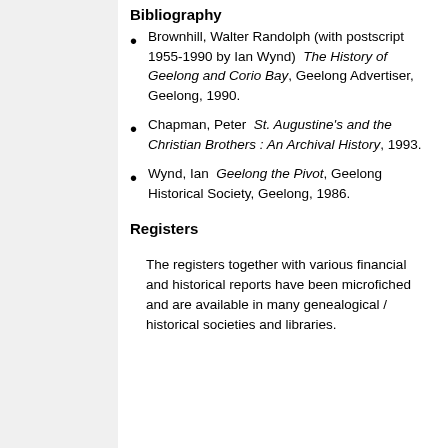Bibliography
Brownhill, Walter Randolph (with postscript 1955-1990 by Ian Wynd)  The History of Geelong and Corio Bay, Geelong Advertiser, Geelong, 1990.
Chapman, Peter  St. Augustine's and the Christian Brothers : An Archival History, 1993.
Wynd, Ian  Geelong the Pivot, Geelong Historical Society, Geelong, 1986.
Registers
The registers together with various financial and historical reports have been microfiched and are available in many genealogical / historical societies and libraries.